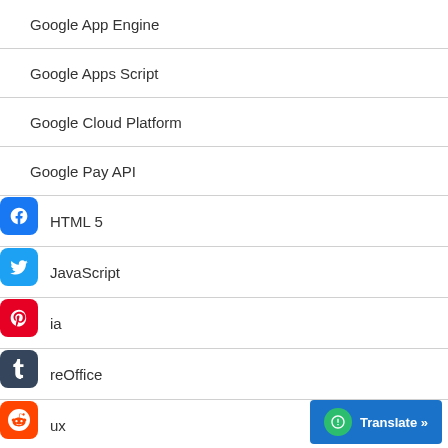Google App Engine
Google Apps Script
Google Cloud Platform
Google Pay API
HTML 5
JavaScript
ia (Media)
reOffice (LibreOffice)
ux (Linux)
Lua
Mac OS
noDevelop (MonoDevelop)
noGame (MonoGame)
ws (News)